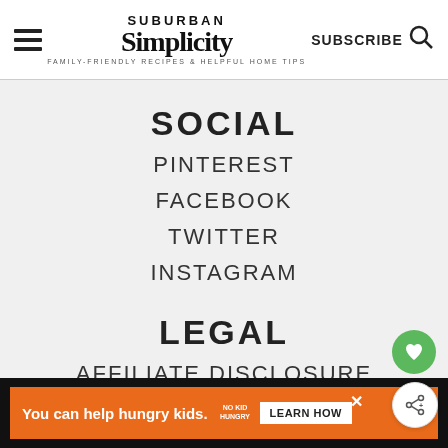Suburban Simplicity — Family-Friendly Recipes & Helpful Home Tips | SUBSCRIBE
SOCIAL
PINTEREST
FACEBOOK
TWITTER
INSTAGRAM
LEGAL
AFFILIATE DISCLOSURE
PRIVACY POLICY
[Figure (other): Green heart favorite button and white share button, floating action buttons on right side]
Advertisement: You can help hungry kids. No Kid Hungry. LEARN HOW